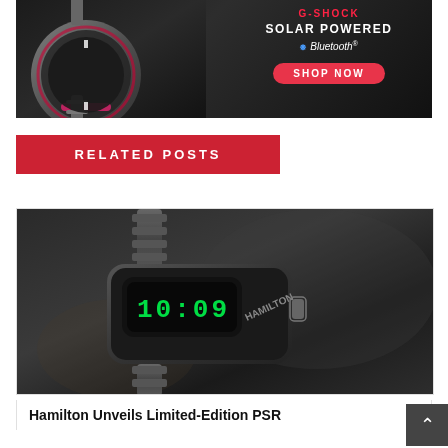[Figure (photo): G-SHOCK watch advertisement banner with solar powered and Bluetooth text, dark background with metallic watch, SHOP NOW button]
RELATED POSTS
[Figure (photo): Hamilton PSR digital watch showing 10:09 on green LED display, with metal bracelet]
Hamilton Unveils Limited-Edition PSR